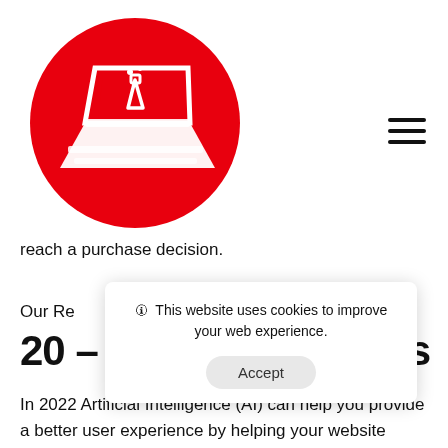[Figure (logo): Red circle logo with white laptop icon containing a science flask/beaker on the screen]
[Figure (other): Hamburger menu icon (three horizontal lines)]
reach a purchase decision.
Our Re
20 –
s
In 2022 Artificial Intelligence (AI) can help you provide a better user experience by helping your website visitors find
🛈 This website uses cookies to improve your web experience.
Accept